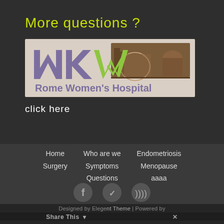More questions ?
[Figure (logo): MKW Rome Women's Hospital logo with stylized letters MKW in purple and green, and an illustration of the Colosseum and St. Peter's Basilica in brown]
click here
Home  Who are we  Endometriosis
Surgery  Symptoms  Menopause
Questions  aaaa
[Figure (other): Social media icons: Facebook, Twitter, RSS feed]
Designed by Elegant Themes | Powered by WordPress